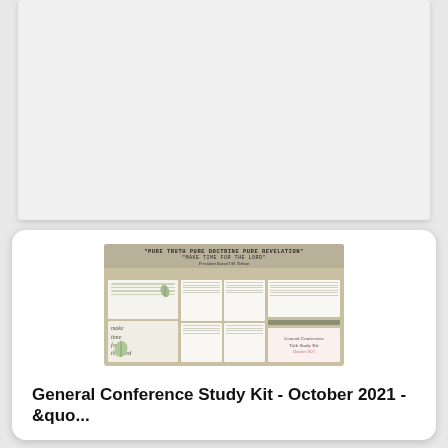[Figure (photo): Top card showing a partially visible product or content area with light gray background]
[Figure (photo): Product image showing a General Conference Talk Study Kit for October 2021 with text 'Pure Truth Pure Doctrine Pure Revelation - Make Time for the Lord' by President Russell M. Nelson, featuring decorative papers with leaf motifs, study sheets, and a pink label card]
General Conference Study Kit - October 2021 - &quo...